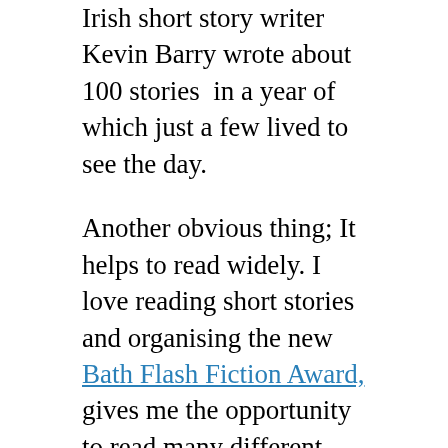Irish short story writer Kevin Barry wrote about 100 stories in a year of which just a few lived to see the day.
Another obvious thing; It helps to read widely. I love reading short stories and organising the new Bath Flash Fiction Award, gives me the opportunity to read many different styles of flash fiction, note which ones impact and linger and assess why they work. Along with my colleagues who co-run the Bath Short Story Award, I get to read longer short stories too. This is one of the reasons why both these competitions are so rewarding. I learn a great deal about short story writing as well as tapping in to the great short story writing community out there.